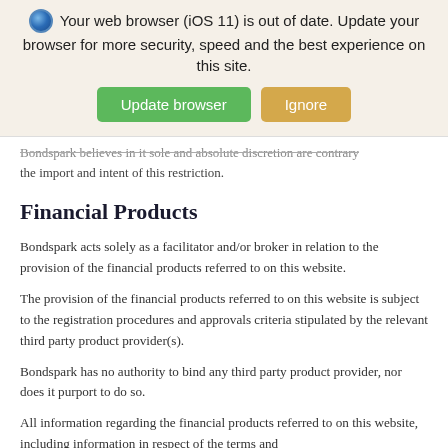[Figure (screenshot): Browser update banner with globe icon, warning text about iOS 11 browser being out of date, and two buttons: 'Update browser' (green) and 'Ignore' (tan/gold)]
Bondspark believes in it sole and absolute discretion are contrary the import and intent of this restriction.
Financial Products
Bondspark acts solely as a facilitator and/or broker in relation to the provision of the financial products referred to on this website.
The provision of the financial products referred to on this website is subject to the registration procedures and approvals criteria stipulated by the relevant third party product provider(s).
Bondspark has no authority to bind any third party product provider, nor does it purport to do so.
All information regarding the financial products referred to on this website, including information in respect of the terms and